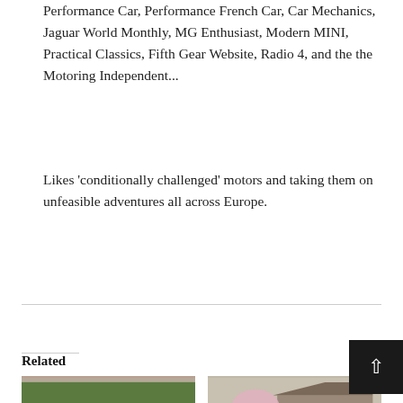Performance Car, Performance French Car, Car Mechanics, Jaguar World Monthly, MG Enthusiast, Modern MINI, Practical Classics, Fifth Gear Website, Radio 4, and the the Motoring Independent...
Likes 'conditionally challenged' motors and taking them on unfeasible adventures all across Europe.
Related
[Figure (photo): Red compact car (appears to be a classic Vauxhall) parked on gravel in front of trees]
[Figure (photo): Several cars parked outside a house with a blossoming tree, older photograph]